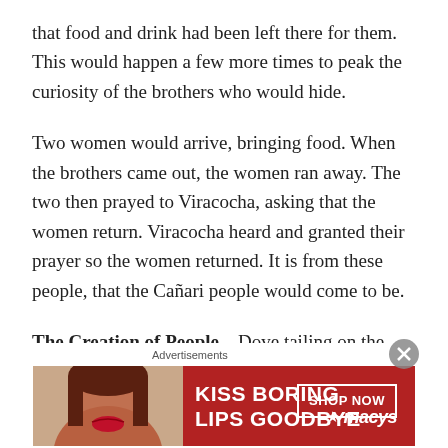that food and drink had been left there for them. This would happen a few more times to peak the curiosity of the brothers who would hide.
Two women would arrive, bringing food. When the brothers came out, the women ran away. The two then prayed to Viracocha, asking that the women return. Viracocha heard and granted their prayer so the women returned. It is from these people, that the Cañari people would come to be.
The Creation of People – Dove tailing on the previous story, Viracocha has created a number of people, humans to send out and populate the Earth. These people, known
Advertisements
[Figure (photo): Advertisement banner for Macy's with text 'KISS BORING LIPS GOODBYE' and 'SHOP NOW' button with Macy's logo on red background, featuring a woman's face with red lipstick.]